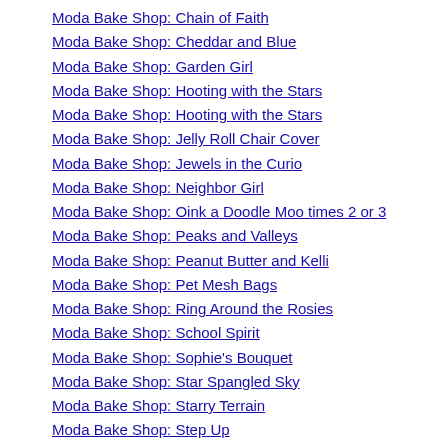Moda Bake Shop: Chain of Faith
Moda Bake Shop: Cheddar and Blue
Moda Bake Shop: Garden Girl
Moda Bake Shop: Hooting with the Stars
Moda Bake Shop: Hooting with the Stars
Moda Bake Shop: Jelly Roll Chair Cover
Moda Bake Shop: Jewels in the Curio
Moda Bake Shop: Neighbor Girl
Moda Bake Shop: Oink a Doodle Moo times 2 or 3
Moda Bake Shop: Peaks and Valleys
Moda Bake Shop: Peanut Butter and Kelli
Moda Bake Shop: Pet Mesh Bags
Moda Bake Shop: Ring Around the Rosies
Moda Bake Shop: School Spirit
Moda Bake Shop: Sophie's Bouquet
Moda Bake Shop: Star Spangled Sky
Moda Bake Shop: Starry Terrain
Moda Bake Shop: Step Up
Modified Log Cabin